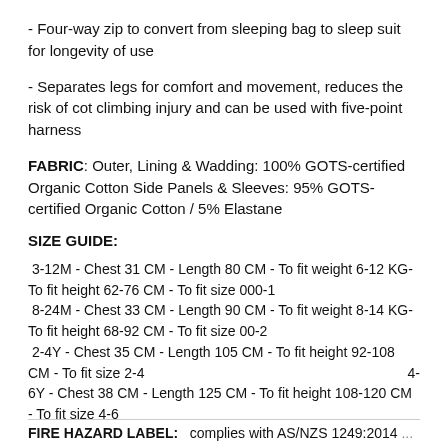- Four-way zip to convert from sleeping bag to sleep suit for longevity of use
- Separates legs for comfort and movement, reduces the risk of cot climbing injury and can be used with five-point harness
FABRIC: Outer, Lining & Wadding: 100% GOTS-certified Organic Cotton Side Panels & Sleeves: 95% GOTS-certified Organic Cotton / 5% Elastane
SIZE GUIDE:
3-12M - Chest 31 CM - Length 80 CM - To fit weight 6-12 KG- To fit height 62-76 CM - To fit size 000-1
8-24M - Chest 33 CM - Length 90 CM - To fit weight 8-14 KG- To fit height 68-92 CM - To fit size 00-2
2-4Y - Chest 35 CM - Length 105 CM - To fit height 92-108 CM - To fit size 2-4                  4-6Y - Chest 38 CM - Length 125 CM - To fit height 108-120 CM - To fit size 4-6
FIRE HAZARD LABEL: ...